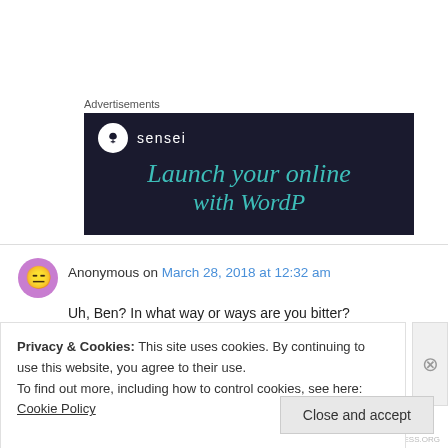Advertisements
[Figure (illustration): Sensei advertisement banner with dark navy background, Sensei logo (white circle with tree icon) and brand name, teal italic text reading 'Launch your online' and partially visible 'with WordP']
Anonymous on March 28, 2018 at 12:32 am
Uh, Ben? In what way or ways are you bitter?
Privacy & Cookies: This site uses cookies. By continuing to use this website, you agree to their use.
To find out more, including how to control cookies, see here: Cookie Policy
Close and accept